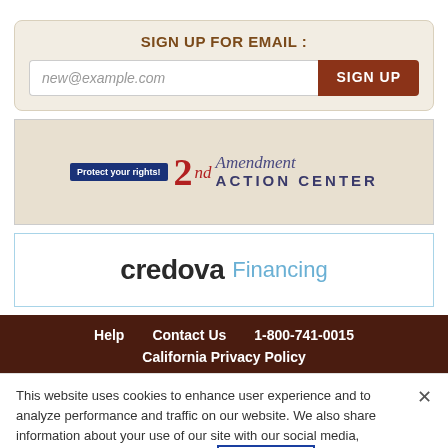SIGN UP FOR EMAIL :
new@example.com
[Figure (logo): 2nd Amendment Action Center logo with 'Protect your rights!' badge]
[Figure (logo): credova Financing logo]
Help   Contact Us   1-800-741-0015   California Privacy Policy
This website uses cookies to enhance user experience and to analyze performance and traffic on our website. We also share information about your use of our site with our social media, advertising and analytics partners. Privacy Policy